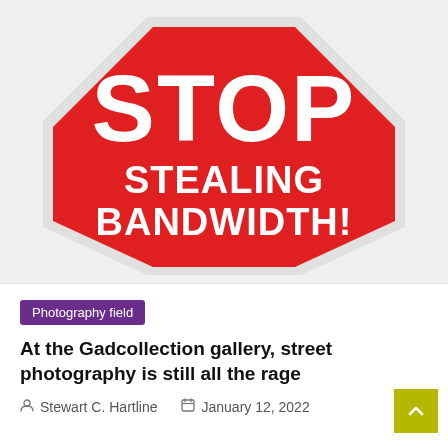[Figure (illustration): A red octagonal stop sign with white bold text reading 'STOP' at the top and 'STEALING BANDWIDTH!' below it. The sign has a white border outline on the red octagon shape.]
Photography field
At the Gadcollection gallery, street photography is still all the rage
Stewart C. Hartline   January 12, 2022